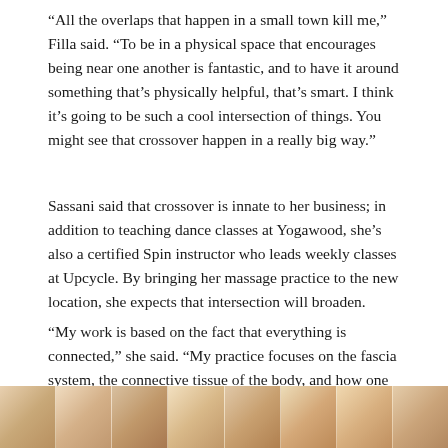“All the overlaps that happen in a small town kill me,” Filla said. “To be in a physical space that encourages being near one another is fantastic, and to have it around something that’s physically helpful, that’s smart. I think it’s going to be such a cool intersection of things. You might see that crossover happen in a really big way.”
Sassani said that crossover is innate to her business; in addition to teaching dance classes at Yogawood, she’s also a certified Spin instructor who leads weekly classes at Upcycle. By bringing her massage practice to the new location, she expects that intersection will broaden.
“My work is based on the fact that everything is connected,” she said. “My practice focuses on the fascia system, the connective tissue of the body, and how one thing affects everything. The move to the Grant building is a brilliant example.
[Figure (photo): Partial view of a photo strip showing what appears to be close-up images of food or natural textures in warm orange, tan, and brown tones]